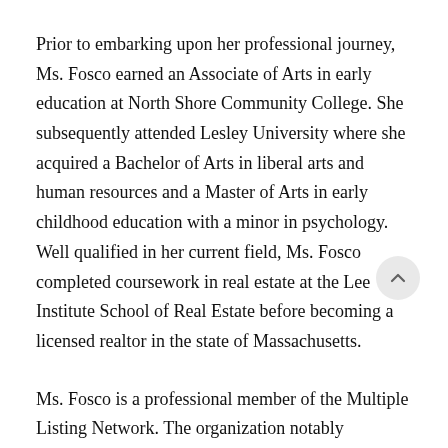Prior to embarking upon her professional journey, Ms. Fosco earned an Associate of Arts in early education at North Shore Community College. She subsequently attended Lesley University where she acquired a Bachelor of Arts in liberal arts and human resources and a Master of Arts in early childhood education with a minor in psychology. Well qualified in her current field, Ms. Fosco completed coursework in real estate at the Lee Institute School of Real Estate before becoming a licensed realtor in the state of Massachusetts.
Ms. Fosco is a professional member of the Multiple Listing Network. The organization notably recognized her in 2021 by naming her as the Realtor of the Month.